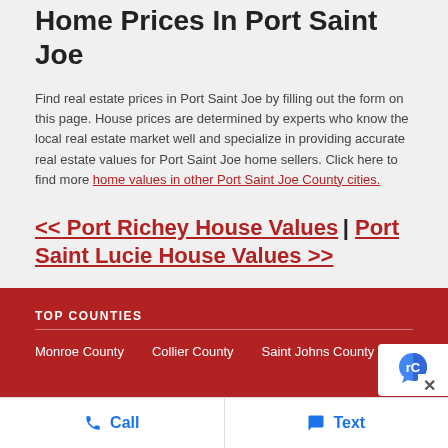Home Prices In Port Saint Joe
Find real estate prices in Port Saint Joe by filling out the form on this page. House prices are determined by experts who know the local real estate market well and specialize in providing accurate real estate values for Port Saint Joe home sellers. Click here to find more home values in other Port Saint Joe County cities.
<< Port Richey House Values | Port Saint Lucie House Values >>
TOP COUNTIES
Monroe County  Collier County  Saint Johns County
Call  Text